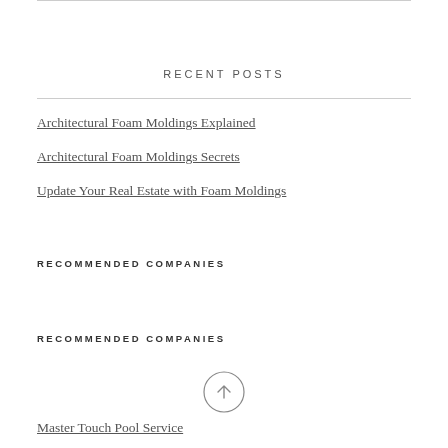RECENT POSTS
Architectural Foam Moldings Explained
Architectural Foam Moldings Secrets
Update Your Real Estate with Foam Moldings
RECOMMENDED COMPANIES
RECOMMENDED COMPANIES
Master Touch Pool Service